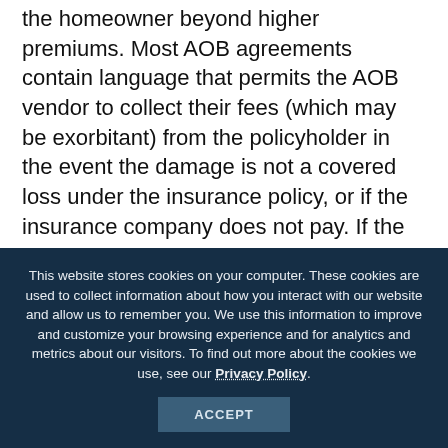the homeowner beyond higher premiums. Most AOB agreements contain language that permits the AOB vendor to collect their fees (which may be exorbitant) from the policyholder in the event the damage is not a covered loss under the insurance policy, or if the insurance company does not pay. If the AOB vendor attempts to collect from you, and you do not pay, they have the legal right to place a lien upon your property for the unpaid amount. Further, if the insurance company
This website stores cookies on your computer. These cookies are used to collect information about how you interact with our website and allow us to remember you. We use this information to improve and customize your browsing experience and for analytics and metrics about our visitors. To find out more about the cookies we use, see our Privacy Policy.